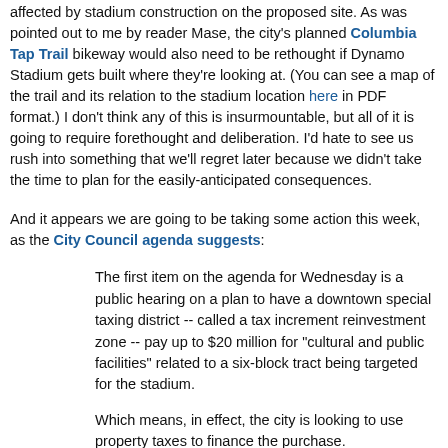affected by stadium construction on the proposed site. As was pointed out to me by reader Mase, the city's planned Columbia Tap Trail bikeway would also need to be rethought if Dynamo Stadium gets built where they're looking at. (You can see a map of the trail and its relation to the stadium location here in PDF format.) I don't think any of this is insurmountable, but all of it is going to require forethought and deliberation. I'd hate to see us rush into something that we'll regret later because we didn't take the time to plan for the easily-anticipated consequences.
And it appears we are going to be taking some action this week, as the City Council agenda suggests:
The first item on the agenda for Wednesday is a public hearing on a plan to have a downtown special taxing district -- called a tax increment reinvestment zone -- pay up to $20 million for "cultural and public facilities" related to a six-block tract being targeted for the stadium.
Which means, in effect, the city is looking to use property taxes to finance the purchase.
In the east part of downtown, those taxes are collected by a tax increment reinvestment zone, TIRZ 15, which includes the possible stadium tract.
Under a TIRZ, property tax revenues generated within